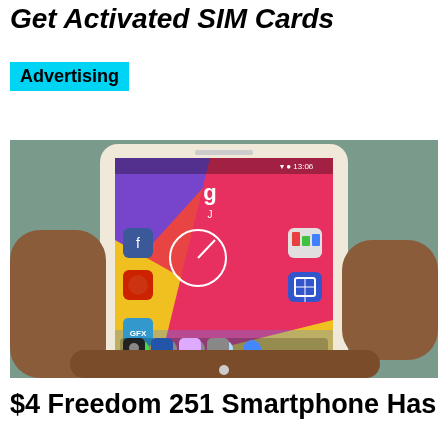Get Activated SIM Cards
Advertising
[Figure (photo): A hand holding a small white Android smartphone displaying a colorful home screen with app icons including GFX, Camera, Settings, and others on a teal/purple/yellow/red background.]
$4 Freedom 251 Smartphone Has